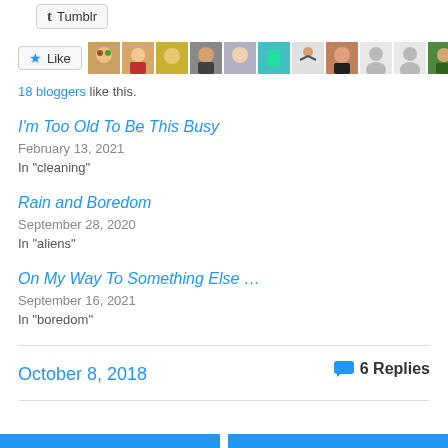[Figure (other): Tumblr share button]
[Figure (other): Like button with 11 blogger avatar thumbnails]
18 bloggers like this.
I'm Too Old To Be This Busy
February 13, 2021
In "cleaning"
Rain and Boredom
September 28, 2020
In "aliens"
On My Way To Something Else …
September 16, 2021
In "boredom"
October 8, 2018
6 Replies